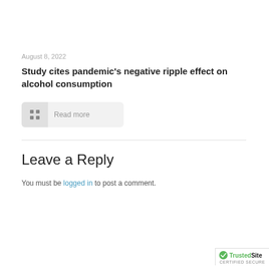August 8, 2022
Study cites pandemic's negative ripple effect on alcohol consumption
Read more
Leave a Reply
You must be logged in to post a comment.
[Figure (logo): TrustedSite CERTIFIED SECURE badge]